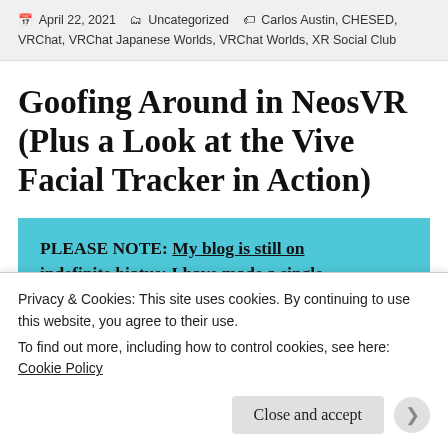April 22, 2021  Uncategorized  Carlos Austin, CHESED, VRChat, VRChat Japanese Worlds, VRChat Worlds, XR Social Club
Goofing Around in NeosVR (Plus a Look at the Vive Facial Tracker in Action)
PLEASE NOTE: My blog is still on indefinite hiatus; I have made a single exception for this blogpost. After this, I
Privacy & Cookies: This site uses cookies. By continuing to use this website, you agree to their use.
To find out more, including how to control cookies, see here: Cookie Policy
Close and accept